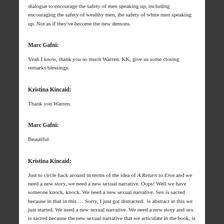dialogue to encourage the safety of men speaking up, including encouraging the safety of wealthy men, the safety of white men speaking up. Not as if they've become the new demons.
Marc Gafni:
Yeah I know, thank you so much Warren. KK, give us some closing remarks blessings.
Kristina Kincaid:
Thank you Warren.
Marc Gafni:
Beautiful.
Kristina Kincaid:
Just to circle back around in terms of the idea of A Return to Eros and we need a new story, we need a new sexual narrative. Oops! Well we have someone knock, knock. We need a new sexual narrative. Sex is sacred because in that in this … Sorry, I just got distracted.  is abstract in this we just started. We need a new sexual narrative. We need a new story and sex is sacred because the new sexual narrative that we articulate in the book, is that sex is sacred because it is life. It is the pulse of life itself, so sex is… We look at sex as the